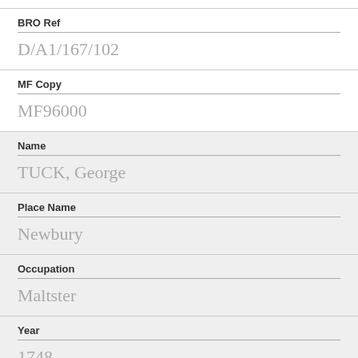BRO Ref
D/A1/167/102
MF Copy
MF96000
Name
TUCK, George
Place Name
Newbury
Occupation
Maltster
Year
1748